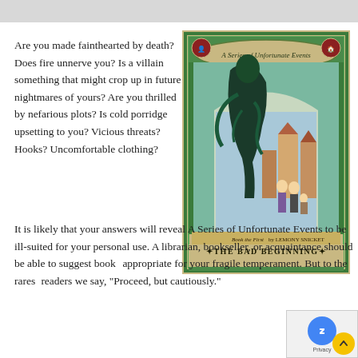Are you made fainthearted by death? Does fire unnerve you? Is a villain something that might crop up in future nightmares of yours? Are you thrilled by nefarious plots? Is cold porridge upsetting to you? Vicious threats? Hooks? Uncomfortable clothing?
[Figure (illustration): Book cover of 'The Bad Beginning' by Lemony Snicket, part of A Series of Unfortunate Events (Book the First). Features a dark illustrated cover with a large sinister figure looming over three children in an arched doorway, with a town visible in the background. The cover has a teal/green decorative border.]
It is likely that your answers will reveal A Series of Unfortunate Events to be ill-suited for your personal use. A librarian, bookseller, or acquaintance should be able to suggest books appropriate for your fragile temperament. But to the rarest readers we say, "Proceed, but cautiously."